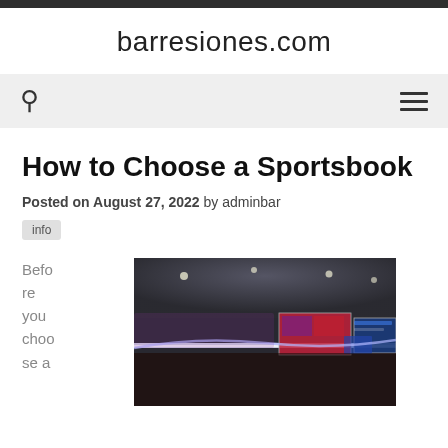barresiones.com
Before you choose a
How to Choose a Sportsbook
Posted on August 27, 2022 by adminbar
info
[Figure (photo): Interior of a sportsbook facility with large display screens showing sports broadcasts and neon lighting along a curved wall]